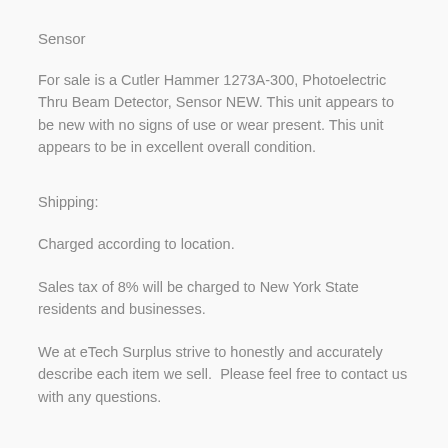Sensor
For sale is a Cutler Hammer 1273A-300, Photoelectric Thru Beam Detector, Sensor NEW. This unit appears to be new with no signs of use or wear present. This unit appears to be in excellent overall condition.
Shipping:
Charged according to location.
Sales tax of 8% will be charged to New York State residents and businesses.
We at eTech Surplus strive to honestly and accurately describe each item we sell.  Please feel free to contact us with any questions.